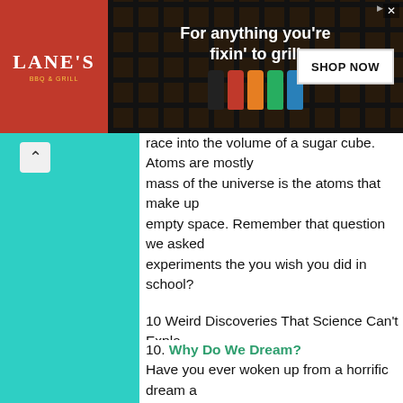[Figure (screenshot): Advertisement banner for Lane's BBQ with grill background, spice bottles, and 'SHOP NOW' button. Text reads 'For anything you're fixin' to grill']
race into the volume of a sugar cube. Atoms are mostly empty space... mass of the universe is the atoms that make up... empty space. Remember that question we asked... experiments the you wish you did in school?
10 Weird Discoveries That Science Can't Explain Just because scientists can see, observe, and study... fully explain it. In this Archive, we're going to explore... out how or why they do. Before we get started,... bell for notifications for future videos. If you like... forget to leave a comment, 'cause we're always...
10. Why Do We Dream?
Have you ever woken up from a horrific dream and... Well, nobody has an answer, really. We know th...